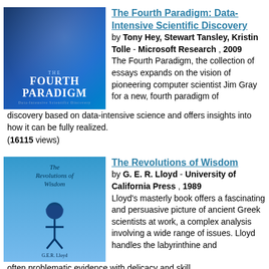[Figure (illustration): Book cover of The Fourth Paradigm: Data-Intensive Scientific Discovery, blue tech background]
The Fourth Paradigm: Data-Intensive Scientific Discovery by Tony Hey, Stewart Tansley, Kristin Tolle - Microsoft Research , 2009 The Fourth Paradigm, the collection of essays expands on the vision of pioneering computer scientist Jim Gray for a new, fourth paradigm of discovery based on data-intensive science and offers insights into how it can be fully realized. (16115 views)
[Figure (illustration): Book cover of The Revolutions of Wisdom, blue cover with Greek warrior figure]
The Revolutions of Wisdom by G. E. R. Lloyd - University of California Press , 1989 Lloyd's masterly book offers a fascinating and persuasive picture of ancient Greek scientists at work, a complex analysis involving a wide range of issues. Lloyd handles the labyrinthine and often problematic evidence with delicacy and skill. (14236 views)